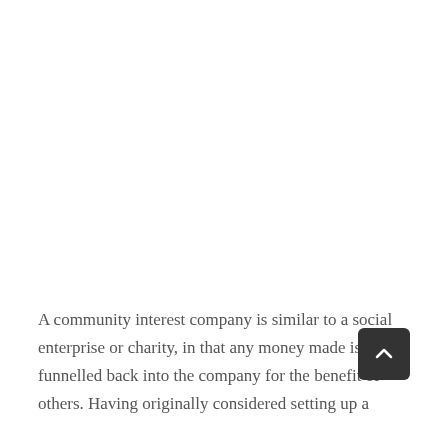A community interest company is similar to a social enterprise or charity, in that any money made is funnelled back into the company for the benefit of others. Having originally considered setting up a